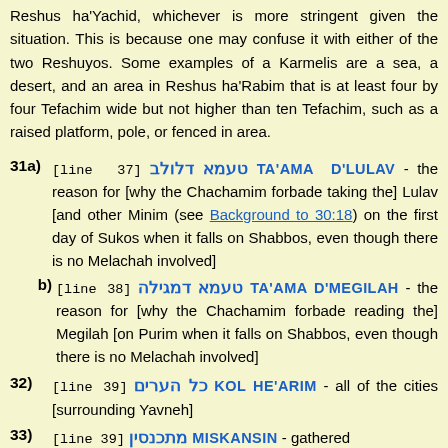Reshus ha'Yachid, whichever is more stringent given the situation. This is because one may confuse it with either of the two Reshuyos. Some examples of a Karmelis are a sea, a desert, and an area in Reshus ha'Rabim that is at least four by four Tefachim wide but not higher than ten Tefachim, such as a raised platform, pole, or fenced in area.
31a) [line 37] טעמא דלולב TA'AMA D'LULAV - the reason for [why the Chachamim forbade taking the] Lulav [and other Minim (see Background to 30:18) on the first day of Sukos when it falls on Shabbos, even though there is no Melachah involved]
b) [line 38] טעמא דמגילה TA'AMA D'MEGILAH - the reason for [why the Chachamim forbade reading the] Megilah [on Purim when it falls on Shabbos, even though there is no Melachah involved]
32) [line 39] כל הערים KOL HE'ARIM - all of the cities [surrounding Yavneh]
33) [line 39] מתכנסין MISKANSIN - gathered